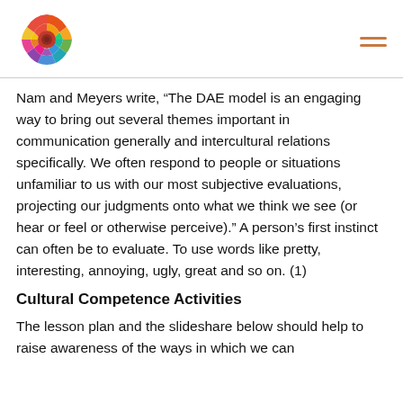[Logo] [Hamburger menu]
Nam and Meyers write, “The DAE model is an engaging way to bring out several themes important in communication generally and intercultural relations specifically. We often respond to people or situations unfamiliar to us with our most subjective evaluations, projecting our judgments onto what we think we see (or hear or feel or otherwise perceive).” A person’s first instinct can often be to evaluate. To use words like pretty, interesting, annoying, ugly, great and so on. (1)
Cultural Competence Activities
The lesson plan and the slideshare below should help to raise awareness of the ways in which we can